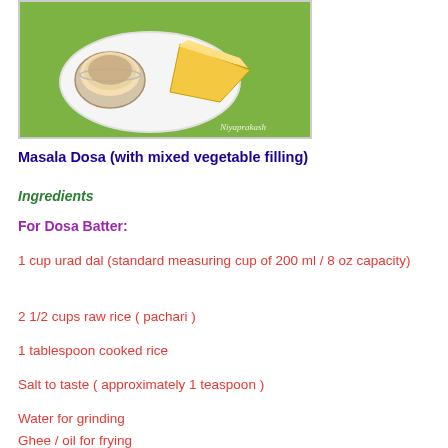[Figure (photo): Photo of Masala Dosa served on a white plate with chutney, on a green background. Watermark reads 'Niyaprakash'.]
Masala Dosa (with mixed vegetable filling)
Ingredients
For Dosa Batter:
1 cup urad dal (standard measuring cup of 200 ml / 8 oz capacity)
2 1/2 cups raw rice ( pachari )
1 tablespoon cooked rice
Salt to taste ( approximately 1 teaspoon )
Water for grinding
Ghee / oil for frying